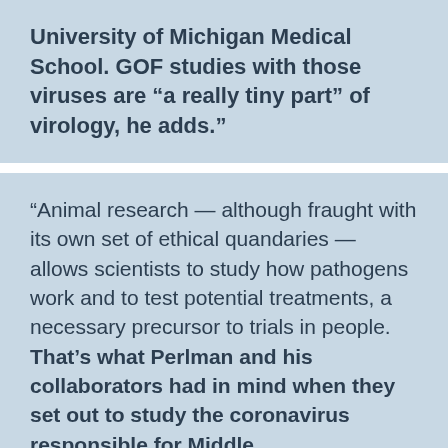University of Michigan Medical School. GOF studies with those viruses are "a really tiny part" of virology, he adds."
“Animal research — although fraught with its own set of ethical quandaries — allows scientists to study how pathogens work and to test potential treatments, a necessary precursor to trials in people. That’s what Perlman and his collaborators had in mind when they set out to study the coronavirus responsible for Middle